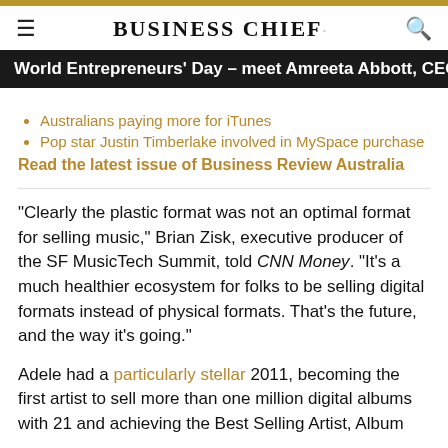BUSINESS CHIEF.
World Entrepreneurs' Day – meet Amreeta Abbott, CEO An
Australians paying more for iTunes
Pop star Justin Timberlake involved in MySpace purchase
Read the latest issue of Business Review Australia
"Clearly the plastic format was not an optimal format for selling music," Brian Zisk, executive producer of the SF MusicTech Summit, told CNN Money. "It's a much healthier ecosystem for folks to be selling digital formats instead of physical formats. That's the future, and the way it's going."
Adele had a particularly stellar 2011, becoming the first artist to sell more than one million digital albums with 21 and achieving the Best Selling Artist, Album